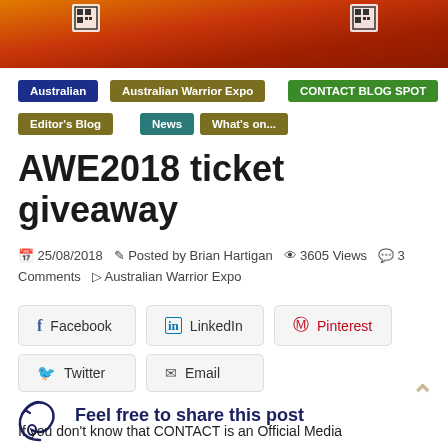[Figure (photo): Hero banner image showing orange/red colored items, possibly boxes or banners, with QR codes visible]
Australian
Australian Warrior Expo
CONTACT BLOG SPOT
Editor's Blog
News
What's on...
AWE2018 ticket giveaway
25/08/2018  Posted by Brian Hartigan  3605 Views  3 Comments  Australian Warrior Expo
Facebook  LinkedIn  Pinterest  Twitter  Email
[Figure (logo): Stylized circular arrow/leaf logo in dark blue]
Feel free to share this post
If you don't know that CONTACT is an Official Media